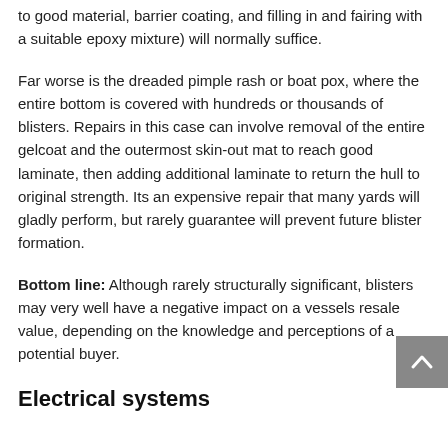to good material, barrier coating, and filling in and fairing with a suitable epoxy mixture) will normally suffice.
Far worse is the dreaded pimple rash or boat pox, where the entire bottom is covered with hundreds or thousands of blisters. Repairs in this case can involve removal of the entire gelcoat and the outermost skin-out mat to reach good laminate, then adding additional laminate to return the hull to original strength. Its an expensive repair that many yards will gladly perform, but rarely guarantee will prevent future blister formation.
Bottom line: Although rarely structurally significant, blisters may very well have a negative impact on a vessels resale value, depending on the knowledge and perceptions of a potential buyer.
Electrical systems